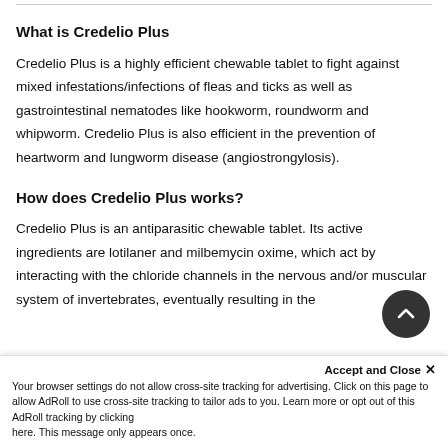What is Credelio Plus
Credelio Plus is a highly efficient chewable tablet to fight against mixed infestations/infections of fleas and ticks as well as gastrointestinal nematodes like hookworm, roundworm and whipworm. Credelio Plus is also efficient in the prevention of heartworm and lungworm disease (angiostrongylosis).
How does Credelio Plus works?
Credelio Plus is an antiparasitic chewable tablet. Its active ingredients are lotilaner and milbemycin oxime, which act by interacting with the chloride channels in the nervous and/or muscular system of invertebrates, eventually resulting in the
Accept and Close ×
Your browser settings do not allow cross-site tracking for advertising. Click on this page to allow AdRoll to use cross-site tracking to tailor ads to you. Learn more or opt out of this AdRoll tracking by clicking here. This message only appears once.